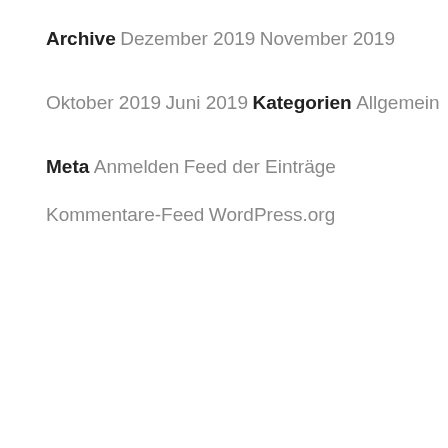Archive
Dezember 2019
November 2019
Oktober 2019
Juni 2019
Kategorien
Allgemein
Meta
Anmelden
Feed der Einträge
Kommentare-Feed
WordPress.org